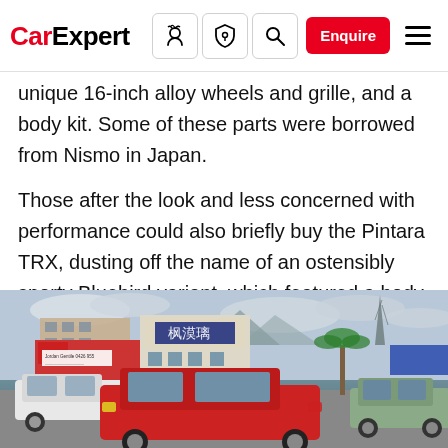CarExpert — navigation bar with logo, icons, Enquire button, hamburger menu
unique 16-inch alloy wheels and grille, and a body kit. Some of these parts were borrowed from Nismo in Japan.
Those after the look and less concerned with performance could also briefly buy the Pintara TRX, dusting off the name of an ostensibly sporty Bluebird variant, which featured a body kit but no extra power.
[Figure (photo): Street scene photograph showing a red classic Nissan Pintara/Bluebird sedan parked in the foreground, with a white sedan to the left, a green vintage car to the right, buildings including a red-fronted commercial building and a multi-storey building with Asian signage in the background, and an overcast sky.]